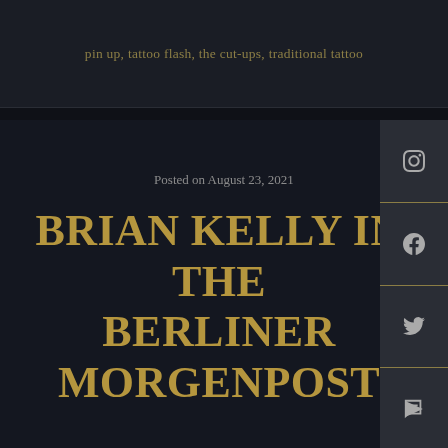pin up, tattoo flash, the cut-ups, traditional tattoo
Posted on August 23, 2021
BRIAN KELLY IN THE BERLINER MORGENPOST